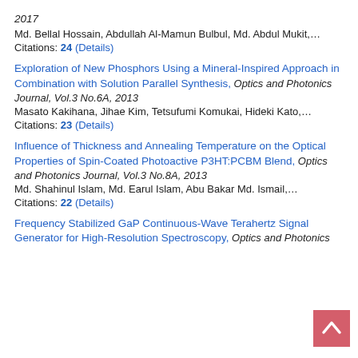2017
Md. Bellal Hossain, Abdullah Al-Mamun Bulbul, Md. Abdul Mukit,…
Citations: 24 (Details)
Exploration of New Phosphors Using a Mineral-Inspired Approach in Combination with Solution Parallel Synthesis, Optics and Photonics Journal, Vol.3 No.6A, 2013
Masato Kakihana, Jihae Kim, Tetsufumi Komukai, Hideki Kato,…
Citations: 23 (Details)
Influence of Thickness and Annealing Temperature on the Optical Properties of Spin-Coated Photoactive P3HT:PCBM Blend, Optics and Photonics Journal, Vol.3 No.8A, 2013
Md. Shahinul Islam, Md. Earul Islam, Abu Bakar Md. Ismail,…
Citations: 22 (Details)
Frequency Stabilized GaP Continuous-Wave Terahertz Signal Generator for High-Resolution Spectroscopy, Optics and Photonics